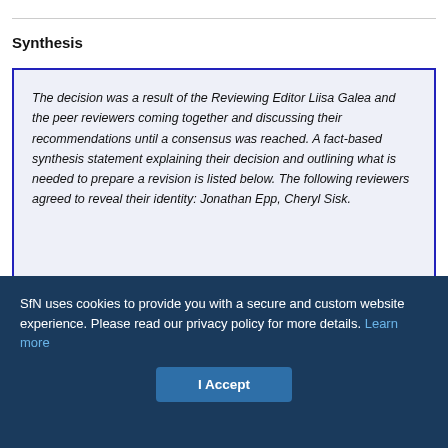Synthesis
The decision was a result of the Reviewing Editor Liisa Galea and the peer reviewers coming together and discussing their recommendations until a consensus was reached. A fact-based synthesis statement explaining their decision and outlining what is needed to prepare a revision is listed below. The following reviewers agreed to reveal their identity: Jonathan Epp, Cheryl Sisk.
This manuscript examines the mechanisms underlying the
SfN uses cookies to provide you with a secure and custom website experience. Please read our privacy policy for more details. Learn more